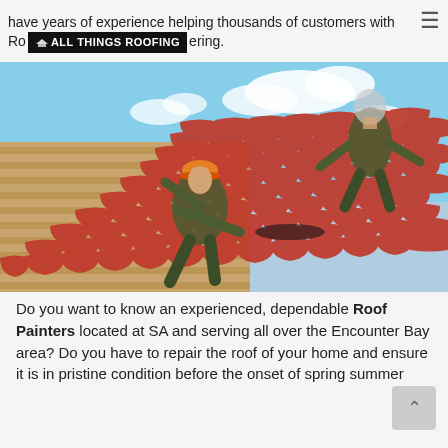have years of experience helping thousands of customers with Ro[logo: ALL THINGS ROOFING]ering.
[Figure (photo): Two workers in camouflage clothing installing red/terracotta roof tiles on a steep roof structure. One worker in the lower-left wears an orange hard hat and is laying tiles. Another worker at the upper-right is lifting a tile. Wooden roof battens are visible. Blue sky with white clouds in the background.]
Do you want to know an experienced, dependable Roof Painters located at SA and serving all over the Encounter Bay area? Do you have to repair the roof of your home and ensure it is in pristine condition before the onset of spring summer